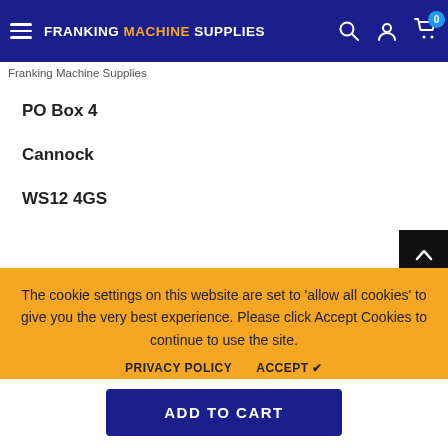FRANKING MACHINE SUPPLIES
Franking Machine Supplies
PO Box 4
Cannock
WS12 4GS
The cookie settings on this website are set to 'allow all cookies' to give you the very best experience. Please click Accept Cookies to continue to use the site.
PRIVACY POLICY   ACCEPT ✔
Royal Mail have performed demanding tests on our ink including thousands of the Franking Machines available in the market today. In addition...
ADD TO CART